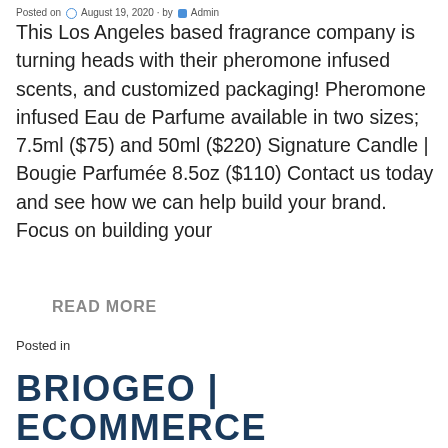Posted on August 19, 2020 · by Admin
This Los Angeles based fragrance company is turning heads with their pheromone infused scents, and customized packaging! Pheromone infused Eau de Parfume available in two sizes; 7.5ml ($75) and 50ml ($220) Signature Candle | Bougie Parfumée 8.5oz ($110) Contact us today and see how we can help build your brand. Focus on building your
READ MORE
Posted in
BRIOGEO | ECOMMERCE